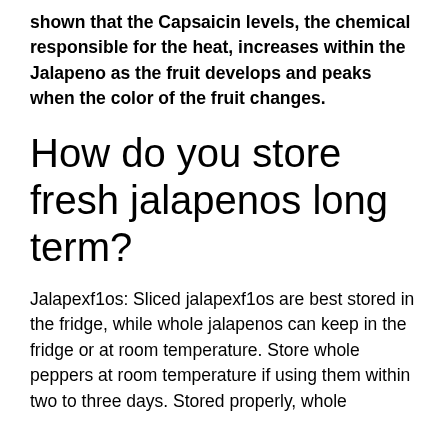shown that the Capsaicin levels, the chemical responsible for the heat, increases within the Jalapeno as the fruit develops and peaks when the color of the fruit changes.
How do you store fresh jalapenos long term?
Jalapexf1os: Sliced jalapexf1os are best stored in the fridge, while whole jalapenos can keep in the fridge or at room temperature. Store whole peppers at room temperature if using them within two to three days. Stored properly, whole